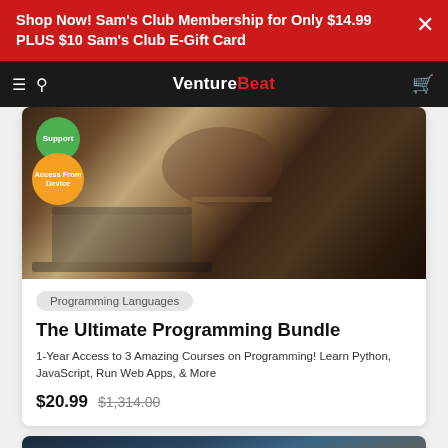Shop Now! Sam's Club Membership for Only $14.99 PLUS $10 Sam's Club E-Gift Card
VentureBeat
[Figure (photo): Person in plaid shirt at desk with laptops, fist raised, with green Support badge and orange Access From Device badge overlay]
Programming Languages
The Ultimate Programming Bundle
1-Year Access to 3 Amazing Courses on Programming! Learn Python, JavaScript, Run Web Apps, & More
$20.99  $1,314.00
[Figure (photo): Partial view of second product card at bottom of page]